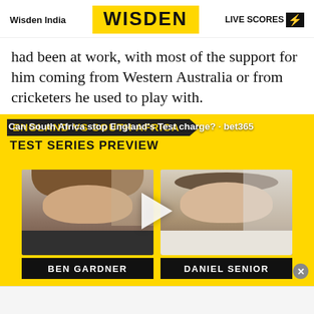Wisden India | WISDEN | LIVE SCORES ⚡
had been at work, with most of the support for him coming from Western Australia or from cricketers he used to play with.
[Figure (screenshot): Video thumbnail for England vs South Africa Test Series Preview with Ben Gardner and Daniel Senior, with 'Can South Africa stop England's Test charge?' overlay text and bet365 branding. Play button visible.]
Can South Africa stop England's Test charge? · bet365